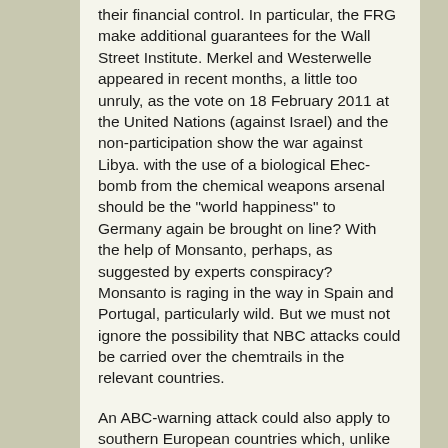their financial control. In particular, the FRG make additional guarantees for the Wall Street Institute. Merkel and Westerwelle appeared in recent months, a little too unruly, as the vote on 18 February 2011 at the United Nations (against Israel) and the non-participation show the war against Libya. with the use of a biological Ehec-bomb from the chemical weapons arsenal should be the "world happiness" to Germany again be brought on line? With the help of Monsanto, perhaps, as suggested by experts conspiracy? Monsanto is raging in the way in Spain and Portugal, particularly wild. But we must not ignore the possibility that NBC attacks could be carried over the chemtrails in the relevant countries.
An ABC-warning attack could also apply to southern European countries which, unlike the naive Germans are waking up and realize the so-called debts of their countries as a fraud. The ongoing protests in Spain, for example, are under the slogan: "No crisis, but fraud. In Greece there is a movement afoot to